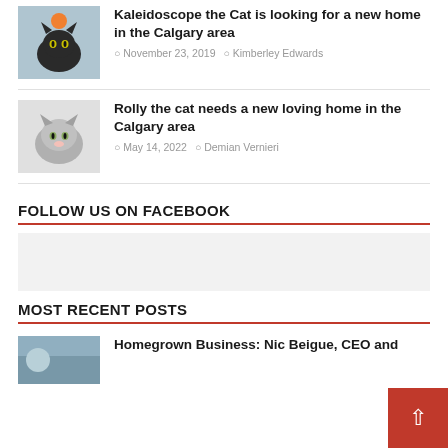Kaleidoscope the Cat is looking for a new home in the Calgary area — November 23, 2019 — Kimberley Edwards
Rolly the cat needs a new loving home in the Calgary area — May 14, 2022 — Demian Vernieri
FOLLOW US ON FACEBOOK
[Figure (other): Facebook widget placeholder box (light grey background)]
MOST RECENT POSTS
Homegrown Business: Nic Beigue, CEO and